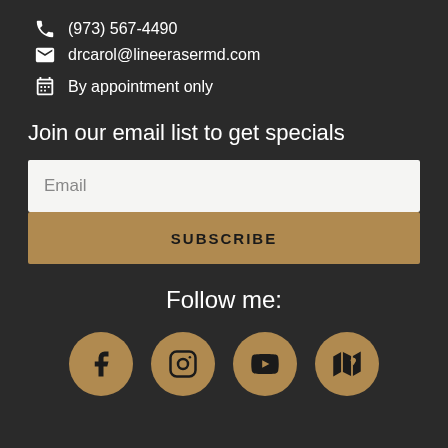(973) 567-4490
drcarol@lineerasermd.com
By appointment only
Join our email list to get specials
Email
SUBSCRIBE
Follow me:
[Figure (infographic): Four social media icons in gold circles: Facebook, Instagram, YouTube, and Map/Location]